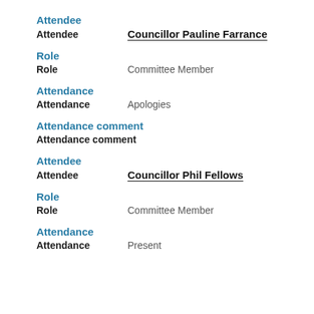Attendee
Attendee   Councillor Pauline Farrance
Role
Role   Committee Member
Attendance
Attendance   Apologies
Attendance comment
Attendance comment
Attendee
Attendee   Councillor Phil Fellows
Role
Role   Committee Member
Attendance
Attendance   Present